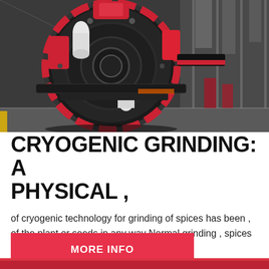[Figure (photo): Industrial cryogenic grinding machine — large black and red mechanical grinder/mill photographed from below at an angle inside a warehouse/factory, showing red accents, belt drives, and industrial components]
CRYOGENIC GRINDING: A PHYSICAL ,
of cryogenic technology for grinding of spices has been , of the plant or seeds in any way Normal grinding , spices The cryogenic grinding.
MORE INFO
[Figure (photo): Partial view of outdoor industrial equipment, partially cut off at bottom of page, showing red machinery]